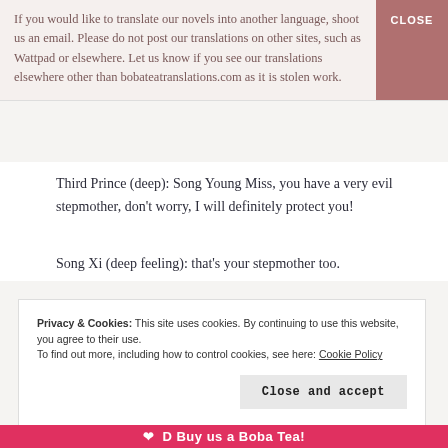If you would like to translate our novels into another language, shoot us an email. Please do not post our translations on other sites, such as Wattpad or elsewhere. Let us know if you see our translations elsewhere other than bobateatranslations.com as it is stolen work.
CLOSE
Third Prince (deep): Song Young Miss, you have a very evil stepmother, don't worry, I will definitely protect you!
Song Xi (deep feeling): that's your stepmother too.
Privacy & Cookies: This site uses cookies. By continuing to use this website, you agree to their use.
To find out more, including how to control cookies, see here: Cookie Policy
Close and accept
❤ D Buy us a Boba Tea!